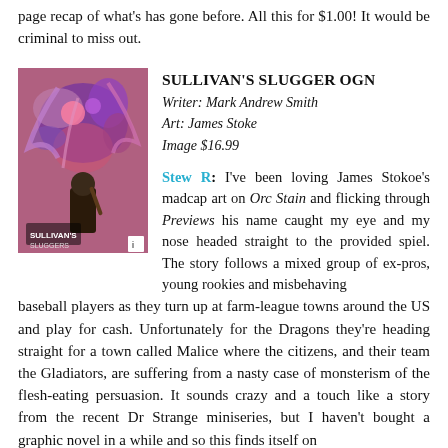page recap of what's has gone before. All this for $1.00! It would be criminal to miss out.
SULLIVAN'S SLUGGER OGN
Writer: Mark Andrew Smith
Art: James Stoke
Image $16.99
[Figure (illustration): Comic book cover art for Sullivan's Slugger OGN showing colorful monster/creature art with a figure and tentacled creatures]
Stew R: I've been loving James Stokoe's madcap art on Orc Stain and flicking through Previews his name caught my eye and my nose headed straight to the provided spiel. The story follows a mixed group of ex-pros, young rookies and misbehaving baseball players as they turn up at farm-league towns around the US and play for cash. Unfortunately for the Dragons they're heading straight for a town called Malice where the citizens, and their team the Gladiators, are suffering from a nasty case of monsterism of the flesh-eating persuasion. It sounds crazy and a touch like a story from the recent Dr Strange miniseries, but I haven't bought a graphic novel in a while and so this finds itself on